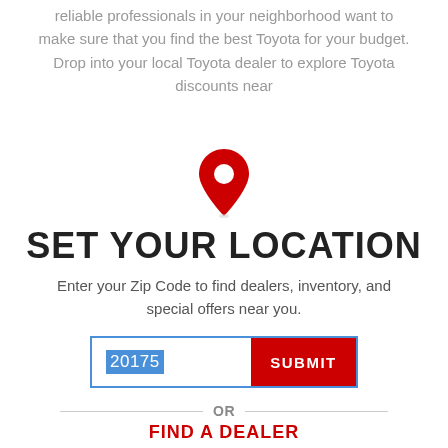reliable professionals in your neighborhood want to make sure that you find the best Toyota for your budget. Drop into your local Toyota dealer to explore Toyota discounts near
[Figure (illustration): Red map location pin icon]
SET YOUR LOCATION
Enter your Zip Code to find dealers, inventory, and special offers near you.
[Figure (screenshot): Zip code input field with '20175' selected in blue highlight, and a red SUBMIT button]
OR
FIND A DEALER